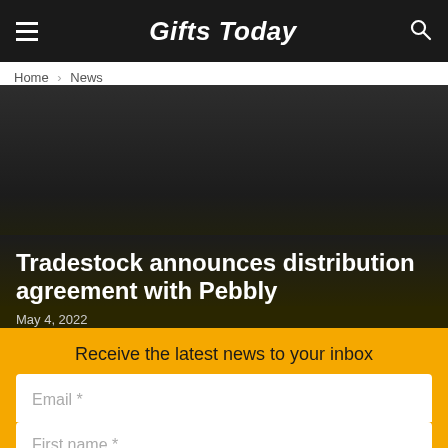Gifts Today
Home › News
Tradestock announces distribution agreement with Pebbly
May 4, 2022
Receive the latest news to your inbox
Email *
First name *